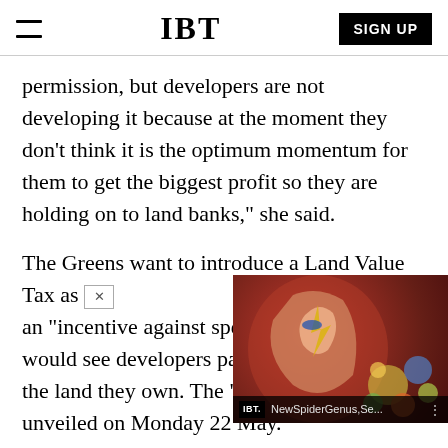IBT | SIGN UP
permission, but developers are not developing it because at the moment they don't think it is the optimum momentum for them to get the biggest profit so they are holding on to land banks," she said.
The Greens want to introduce a Land Value Tax as an "incentive against specu[lation]. It would see developers pay a [levy on] the land they own. The "Gr[een manifesto was] unveiled on Monday 22 May.
[Figure (screenshot): Ad overlay showing IBT branded widget with image of David Bowie-style face paint person against red background with colorful circles, labeled 'NewSpiderGenus,Se...' with a close button (x)]